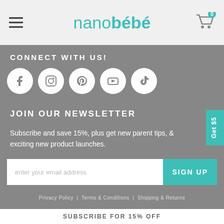nanobébé — navigation header with hamburger menu and cart (0 items)
CONNECT WITH US!
[Figure (infographic): Five social media icon circles: Facebook, Instagram, Pinterest, YouTube, TikTok]
JOIN OUR NEWSLETTER
Subscribe and save 15%, plus get new parent tips, & exciting new product launches.
enter your email address  [SIGN UP button]
Privacy Policy | Terms & Conditions | Shipping & Returns
SUBSCRIBE FOR 15% OFF